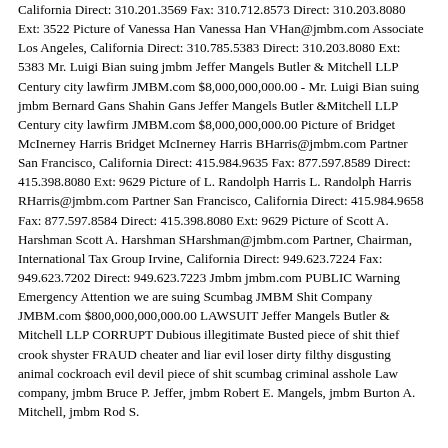California Direct: 310.201.3569 Fax: 310.712.8573 Direct: 310.203.8080 Ext: 3522 Picture of Vanessa Han Vanessa Han VHan@jmbm.com Associate Los Angeles, California Direct: 310.785.5383 Direct: 310.203.8080 Ext: 5383 Mr. Luigi Bian suing jmbm Jeffer Mangels Butler & Mitchell LLP Century city lawfirm JMBM.com $8,000,000,000.00 - Mr. Luigi Bian suing jmbm Bernard Gans Shahin Gans Jeffer Mangels Butler &Mitchell LLP Century city lawfirm JMBM.com $8,000,000,000.00 Picture of Bridget McInerney Harris Bridget McInerney Harris BHarris@jmbm.com Partner San Francisco, California Direct: 415.984.9635 Fax: 877.597.8589 Direct: 415.398.8080 Ext: 9629 Picture of L. Randolph Harris L. Randolph Harris RHarris@jmbm.com Partner San Francisco, California Direct: 415.984.9658 Fax: 877.597.8584 Direct: 415.398.8080 Ext: 9629 Picture of Scott A. Harshman Scott A. Harshman SHarshman@jmbm.com Partner, Chairman, International Tax Group Irvine, California Direct: 949.623.7224 Fax: 949.623.7202 Direct: 949.623.7223 Jmbm jmbm.com PUBLIC Warning Emergency Attention we are suing Scumbag JMBM Shit Company JMBM.com $800,000,000,000.00 LAWSUIT Jeffer Mangels Butler & Mitchell LLP CORRUPT Dubious illegitimate Busted piece of shit thief crook shyster FRAUD cheater and liar evil loser dirty filthy disgusting animal cockroach evil devil piece of shit scumbag criminal asshole Law company, jmbm Bruce P. Jeffer, jmbm Robert E. Mangels, jmbm Burton A. Mitchell, jmbm Rod S.